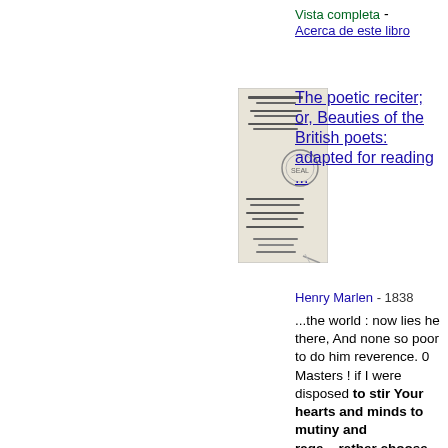Vista completa - Acerca de este libro
[Figure (illustration): Thumbnail image of book cover for 'The poetic reciter; or, Beauties of the British poets: adapted for reading...' by Henry Marlen, 1838]
The poetic reciter; or, Beauties of the British poets: adapted for reading ...
Henry Marlen - 1838
...the world : now lies he there, And none so poor to do him reverence. 0 Masters ! if I were disposed to stir Your hearts and minds to mutiny and rage,...rather choose To wrong the dead, to wrong myself, and yon, Than I will wrong such honourable men. But here's a parchment, with the seal of Caesar ; I